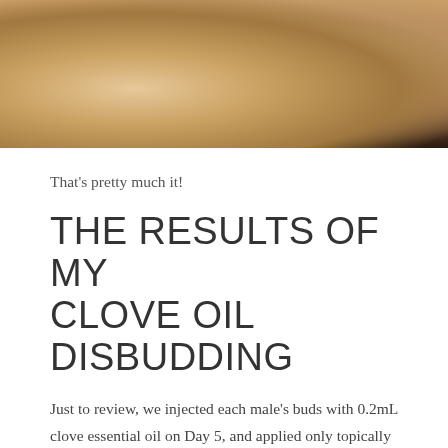[Figure (photo): Close-up photo of a goat (kid), showing the face/snout area with warm brown and tan tones, partially cropped at top of page.]
That's pretty much it!
THE RESULTS OF MY CLOVE OIL DISBUDDING
Just to review, we injected each male's buds with 0.2mL clove essential oil on Day 5, and applied only topically to the female's buds from Day 3-14. When I applied topically, I simply had somebody hold her and I let 2-3 drops from the bottle drip directly on her buds, then I rubbed it in with my finger.
The mother of the goats didn't reject the babies from